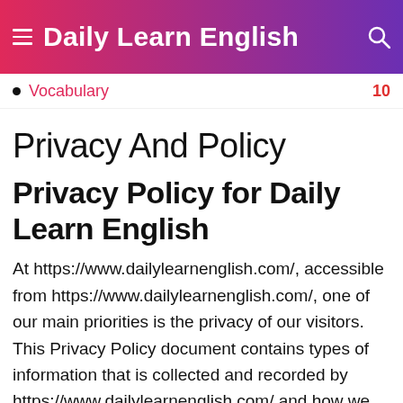Daily Learn English
Vocabulary  10
Privacy And Policy
Privacy Policy for Daily Learn English
At https://www.dailylearnenglish.com/, accessible from https://www.dailylearnenglish.com/, one of our main priorities is the privacy of our visitors. This Privacy Policy document contains types of information that is collected and recorded by https://www.dailylearnenglish.com/ and how we use